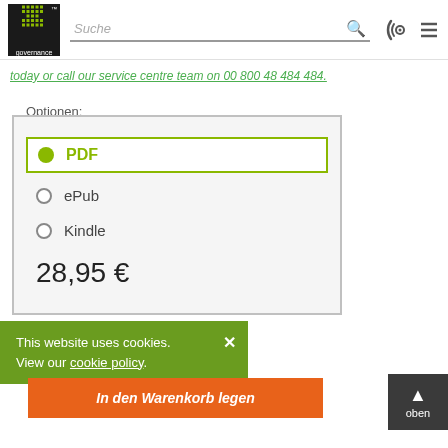[Figure (screenshot): IT Governance logo — dark square with dot-matrix 'IT' text and 'governance' label below, with TM superscript]
Suche
today or call our service centre team on 00 800 48 484 484.
Optionen:
PDF (selected)
ePub
Kindle
28,95 €
This website uses cookies. View our cookie policy.
In den Warenkorb legen